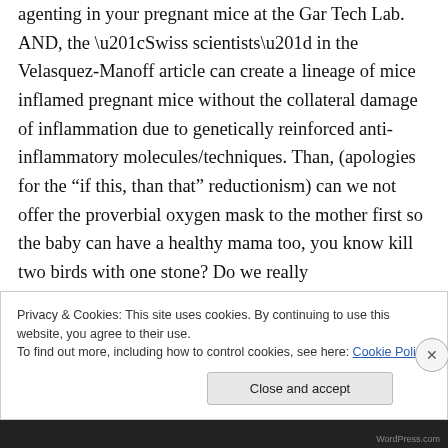agenting in your pregnant mice at the Gar Tech Lab. AND, the “Swiss scientists” in the Velasquez-Manoff article can create a lineage of mice inflamed pregnant mice without the collateral damage of inflammation due to genetically reinforced anti-inflammatory molecules/techniques. Than, (apologies for the “if this, than that” reductionism) can we not offer the proverbial oxygen mask to the mother first so the baby can have a healthy mama too, you know kill two birds with one stone? Do we really
Privacy & Cookies: This site uses cookies. By continuing to use this website, you agree to their use.
To find out more, including how to control cookies, see here: Cookie Policy
Close and accept